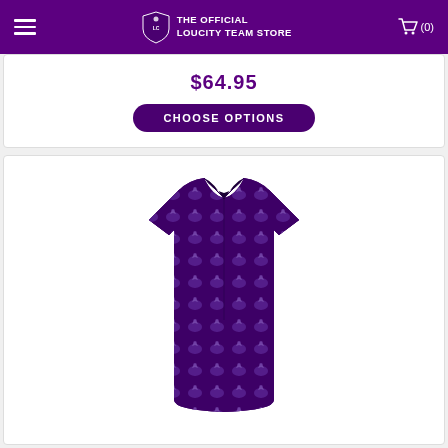THE OFFICIAL LOUCITY TEAM STORE
$64.95
CHOOSE OPTIONS
[Figure (photo): Purple polo shirt with repeating LouCity crest pattern, short sleeves, button placket collar, displayed on white background]